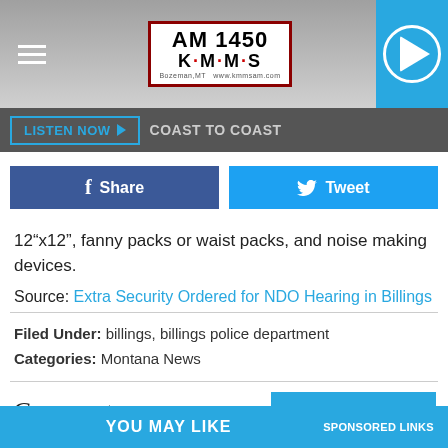[Figure (logo): AM 1450 KMMS radio station logo with red border, Bozeman MT website tagline]
LISTEN NOW | COAST TO COAST
Share | Tweet (social sharing buttons)
12“x12”, fanny packs or waist packs, and noise making devices.
Source: Extra Security Ordered for NDO Hearing in Billings
Filed Under: billings, billings police department
Categories: Montana News
Comments
LEAVE A COMMENT
YOU MAY LIKE | SPONSORED LINKS